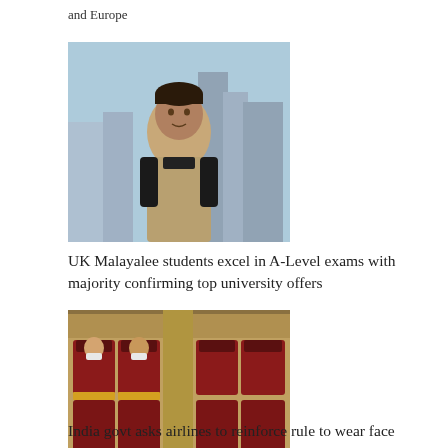and Europe
[Figure (photo): A young man standing in front of a cityscape window]
UK Malayalee students excel in A-Level exams with majority confirming top university offers
[Figure (photo): Interior of an airplane cabin with red seats and passengers wearing face masks]
India govt asks airlines to reinforce rule to wear face masks amid rise in Covid cases